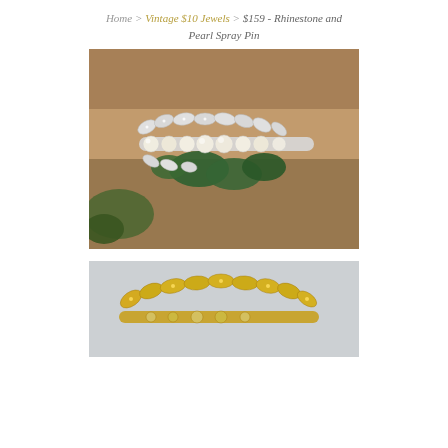Home > Vintage $10 Jewels > $159 - Rhinestone and Pearl Spray Pin
[Figure (photo): A rhinestone and pearl spray pin brooch photographed on a mossy stone surface with small green leaves. The pin features a row of cream-colored pearls with rhinestone leaf-shaped settings arranged around them in a spray pattern, in silver tone.]
[Figure (photo): Partial view of a gold-tone rhinestone and pearl spray pin, showing the top portion of the brooch against a light gray background. The pin features yellow rhinestone leaf settings with small pearl accents.]